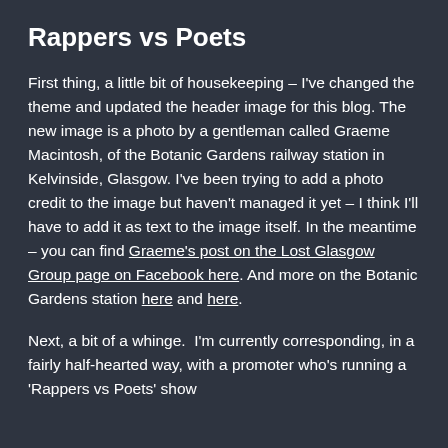Rappers vs Poets
First thing, a little bit of housekeeping – I've changed the theme and updated the header image for this blog. The new image is a photo by a gentleman called Graeme Macintosh, of the Botanic Gardens railway station in Kelvinside, Glasgow. I've been trying to add a photo credit to the image but haven't managed it yet – I think I'll have to add it as text to the image itself. In the meantime – you can find Graeme's post on the Lost Glasgow Group page on Facebook here. And more on the Botanic Gardens station here and here.
Next, a bit of a whinge.  I'm currently corresponding, in a fairly half-hearted way, with a promoter who's running a 'Rappers vs Poets' show